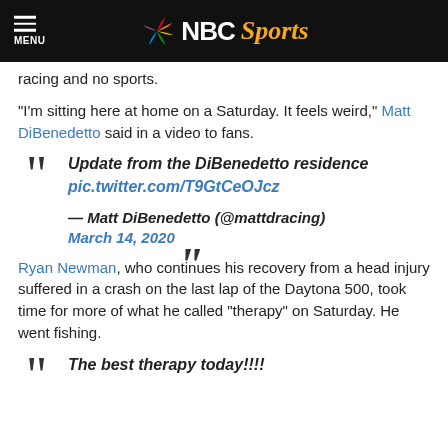NBC Sports
racing and no sports.
“I’m sitting here at home on a Saturday. It feels weird,” Matt DiBenedetto said in a video to fans.
Update from the DiBenedetto residence pic.twitter.com/T9GtCeOJcz — Matt DiBenedetto (@mattdracing) March 14, 2020
Ryan Newman, who continues his recovery from a head injury suffered in a crash on the last lap of the Daytona 500, took time for more of what he called “therapy” on Saturday. He went fishing.
The best therapy today!!!!